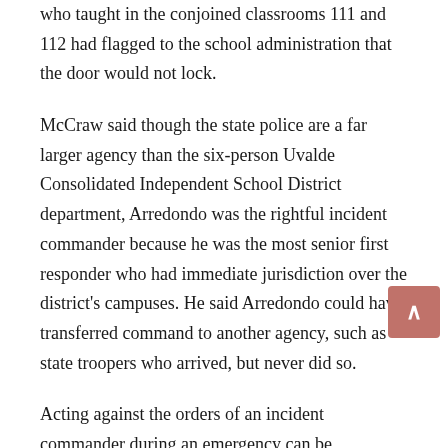who taught in the conjoined classrooms 111 and 112 had flagged to the school administration that the door would not lock.
McCraw said though the state police are a far larger agency than the six-person Uvalde Consolidated Independent School District department, Arredondo was the rightful incident commander because he was the most senior first responder who had immediate jurisdiction over the district's campuses. He said Arredondo could have transferred command to another agency, such as state troopers who arrived, but never did so.
Acting against the orders of an incident commander during an emergency can be dangerous and chaotic, McCraw said, responding to a question about why his troopers did not take charge. But he said the failure of one police agency means all law enforcement performed unacceptably that day.